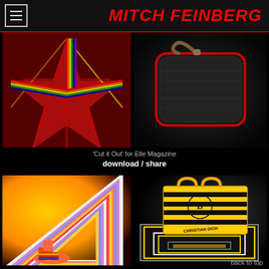MITCH FEINBERG
[Figure (photo): Colorful star-shaped paper art on red background with rainbow stripes]
[Figure (photo): Dark leather bag/case with red trim and strap on dark background]
'Cut it Out' for Elle Magazine
download / share
[Figure (photo): Colorful platform shoes inside a triangular layered paper construction on yellow/orange background]
[Figure (photo): Christian Dior yellow and black striped tote bag on geometric striped surface]
back to top